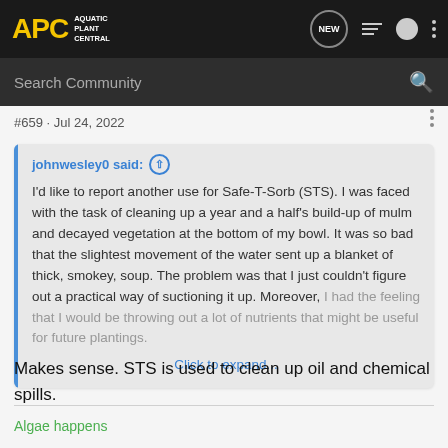APC AQUATIC PLANT CENTRAL
#659 · Jul 24, 2022
johnwesley0 said: ↑ I'd like to report another use for Safe-T-Sorb (STS). I was faced with the task of cleaning up a year and a half's build-up of mulm and decayed vegetation at the bottom of my bowl. It was so bad that the slightest movement of the water sent up a blanket of thick, smokey, soup. The problem was that I just couldn't figure out a practical way of suctioning it up. Moreover, I had the feeling that I would be throwing out a lot of nutrients that might be useful for future plantings. Click to expand...
Makes sense. STS is used to clean up oil and chemical spills.
Algae happens